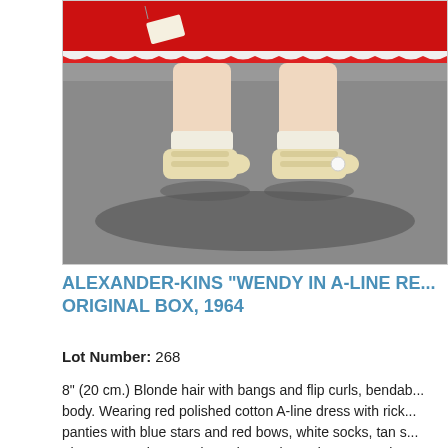[Figure (photo): Close-up photo of a doll's legs and feet wearing cream/white Mary Jane shoes with button straps and white ankle socks, against a gray background. The doll wears a red dress with white scalloped trim visible at the top.]
ALEXANDER-KINS "WENDY IN A-LINE RE... ORIGINAL BOX, 1964
Lot Number: 268
8" (20 cm.) Blonde hair with bangs and flip curls, bendab... body. Wearing red polished cotton A-line dress with rick... panties with blue stars and red bows, white socks, tan s... The costume is tagged "Madame Alexander New York A...